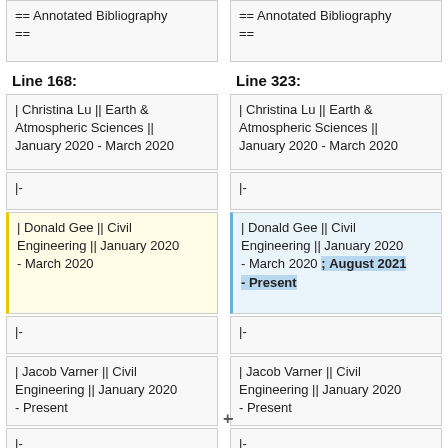== Annotated Bibliography ==
== Annotated Bibliography ==
Line 168:
Line 323:
| Christina Lu || Earth & Atmospheric Sciences || January 2020 - March 2020
| Christina Lu || Earth & Atmospheric Sciences || January 2020 - March 2020
|-
|-
| Donald Gee || Civil Engineering || January 2020 - March 2020
| Donald Gee || Civil Engineering || January 2020 - March 2020 ; August 2021 - Present
|-
|-
| Jacob Varner || Civil Engineering || January 2020 - Present
| Jacob Varner || Civil Engineering || January 2020 - Present
|-
|-